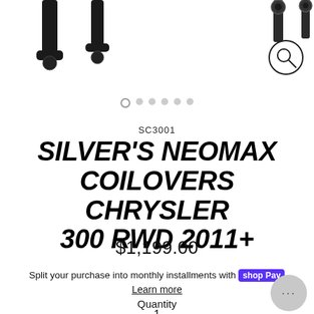[Figure (photo): Product photo showing black coilover suspension parts — arms and threaded components against white background]
SC3001
SILVER'S NEOMAX COILOVERS CHRYSLER 300 RWD 2011+
$1,199.00
Split your purchase into monthly installments with shop Pay
Learn more
Quantity
1